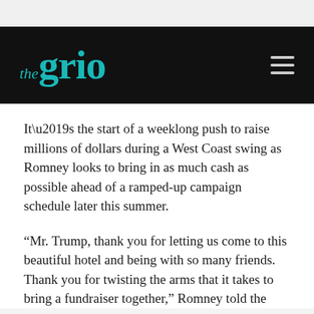the grio
It’s the start of a weeklong push to raise millions of dollars during a West Coast swing as Romney looks to bring in as much cash as possible ahead of a ramped-up campaign schedule later this summer.
“Mr. Trump, thank you for letting us come to this beautiful hotel and being with so many friends. Thank you for twisting the arms that it takes to bring a fundraiser together,” Romney told the